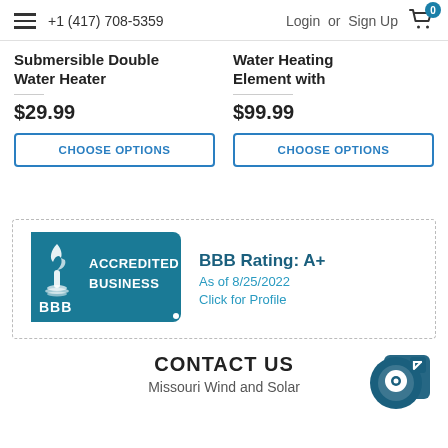+1 (417) 708-5359  Login or Sign Up
Submersible Double Water Heater
$29.99
CHOOSE OPTIONS
Water Heating Element with
$99.99
CHOOSE OPTIONS
[Figure (logo): BBB Accredited Business seal with teal background and torch icon]
BBB Rating: A+
As of 8/25/2022
Click for Profile
CONTACT US
Missouri Wind and Solar
[Figure (other): Chat/support floating icon button — dark teal circle with chat bubble and arrow]